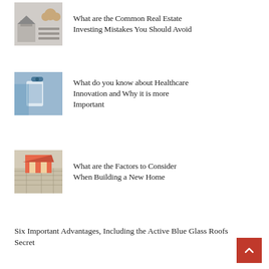[Figure (photo): Real estate photo showing a calculator and small house model]
What are the Common Real Estate Investing Mistakes You Should Avoid
[Figure (photo): Healthcare photo showing a person in blue scrubs using a tablet device]
What do you know about Healthcare Innovation and Why it is more Important
[Figure (photo): Architecture photo showing a house model on blueprints]
What are the Factors to Consider When Building a New Home
Six Important Advantages, Including the Active Blue Glass Roofs Secret